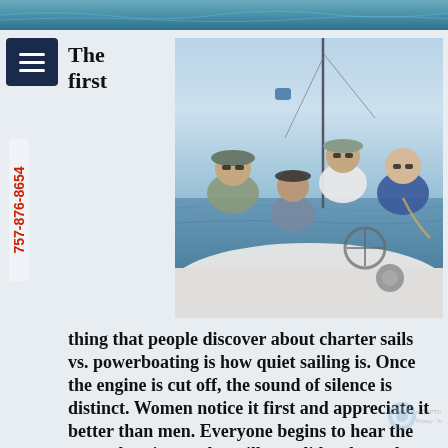[Figure (photo): Top strip showing water/ocean scene, cropped view at top of page]
The first
[Figure (photo): Four people on a sailboat on the water. A man in a cap on the left, a woman in the middle, a man in white shirt and cap in the back, and a woman in a blue top on the right holding a rope/line.]
thing that people discover about charter sails vs. powerboating is how quiet sailing is. Once the engine is cut off, the sound of silence is distinct. Women notice it first and appreciate it better than men. Everyone begins to hear the waves lapping as the sailboat glides through water. When birds are close, it's as if you can hear